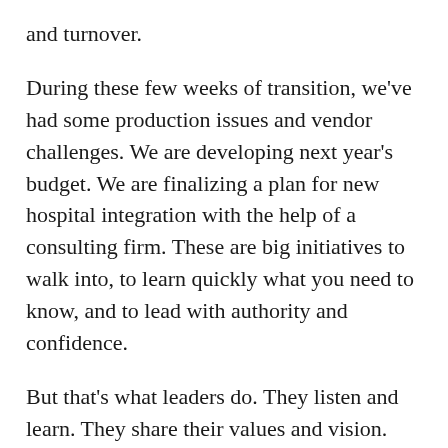and turnover.
During these few weeks of transition, we've had some production issues and vendor challenges. We are developing next year's budget. We are finalizing a plan for new hospital integration with the help of a consulting firm. These are big initiatives to walk into, to learn quickly what you need to know, and to lead with authority and confidence.
But that's what leaders do. They listen and learn. They share their values and vision. They don't pretend to know or have all the answers. They rely on their team to keep them informed and to solve problems. And at the end of the day, they own it.
Joy repeatedly says “strengthen the core.” I couldn’t agree more. One of my priorities as interim was a stable